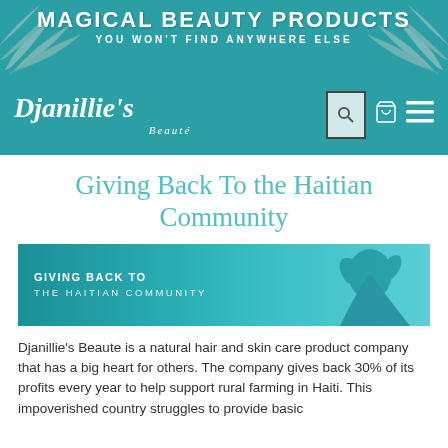MAGICAL BEAUTY PRODUCTS
YOU WON'T FIND ANYWHERE ELSE
[Figure (logo): Djanillie's Beauté logo with search, cart, and menu icons on teal background]
Giving Back To the Haitian Community
[Figure (photo): Teal banner image showing a woman with text GIVING BACK TO THE HAITIAN COMMUNITY]
Djanillie's Beaute is a natural hair and skin care product company that has a big heart for others. The company gives back 30% of its profits every year to help support rural farming in Haiti. This impoverished country struggles to provide basic